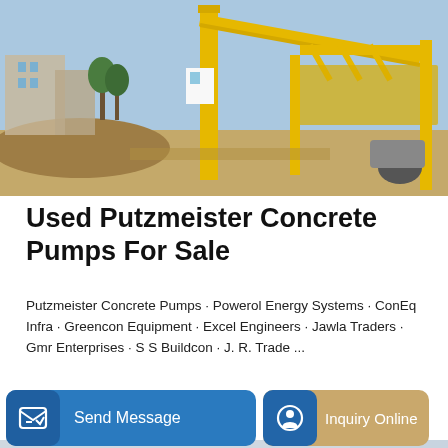[Figure (photo): Yellow construction crane/concrete pump equipment on a construction site with buildings in background]
Used Putzmeister Concrete Pumps For Sale
Putzmeister Concrete Pumps · Powerol Energy Systems · ConEq Infra · Greencon Equipment · Excel Engineers · Jawla Traders · Gmr Enterprises · S S Buildcon · J. R. Trade ...
[Figure (photo): Close-up of yellow concrete pump machinery components]
Send Message
Inquiry Online